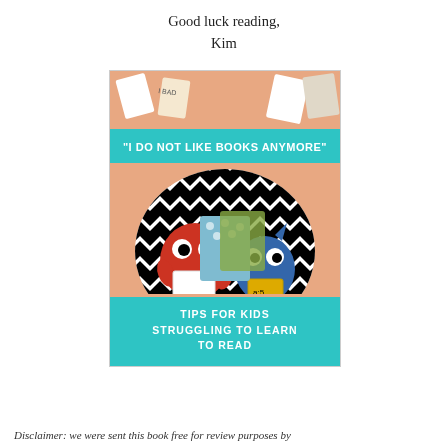Good luck reading,
Kim
[Figure (photo): Book cover for 'I Do Not Like Books Anymore' – Tips for Kids Struggling to Learn to Read. Features cartoon monster characters on a black-and-white zigzag pattern background with a salmon/peach colored border. Top and bottom teal banners with title text.]
Disclaimer: we were sent this book free for review purposes by